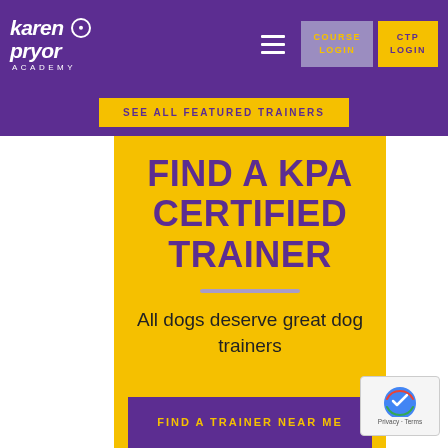[Figure (logo): Karen Pryor Academy logo with circle mark, white text on purple background]
COURSE LOGIN
CTP LOGIN
SEE ALL FEATURED TRAINERS
FIND A KPA CERTIFIED TRAINER
All dogs deserve great dog trainers
FIND A TRAINER NEAR ME
[Figure (other): Google reCAPTCHA badge with Privacy and Terms text]